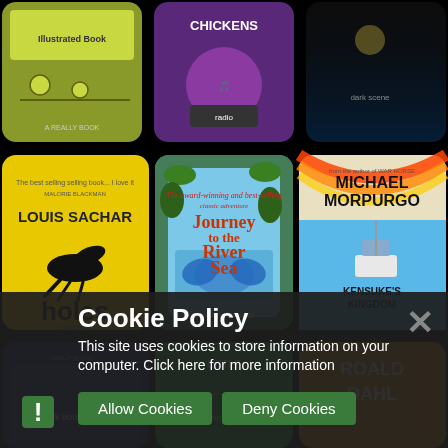[Figure (screenshot): A grid of children's book covers: top row includes illustrated books with yellow-green, purple, and dark covers; middle row shows 'Holes' by Louis Sachar (yellow cover with lizard), 'Journey to the River Sea' by Eva Ibbotson (jungle/butterfly illustration), and 'Kensuke's Kingdom' by Michael Morpurgo (boat/sea illustration); bottom row partially visible with Philip Ridley, a green book, and Roald Dahl.]
Cookie Policy
This site uses cookies to store information on your computer. Click here for more information
Allow Cookies
Deny Cookies